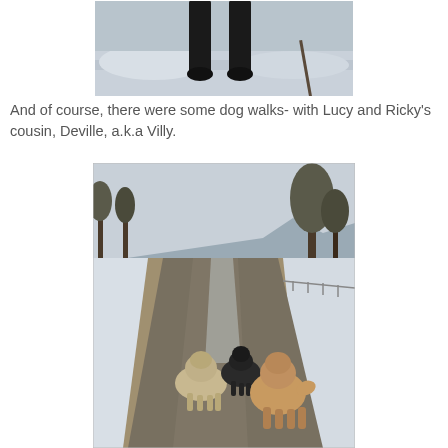[Figure (photo): Partial photo showing person's legs/boots standing on snowy/icy ground, cropped at top]
And of course, there were some dog walks- with Lucy and Ricky's cousin, Deville, a.k.a Villy.
[Figure (photo): Three dogs walking away from the camera down a snowy rural road lined with trees and snow on the sides]